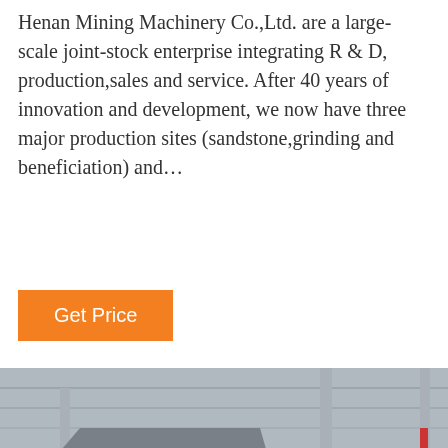Henan Mining Machinery Co.,Ltd. are a large-scale joint-stock enterprise integrating R & D, production,sales and service. After 40 years of innovation and development, we now have three major production sites (sandstone,grinding and beneficiation) and…
[Figure (other): Orange 'Get Price' button]
[Figure (photo): Large industrial mining/crushing machinery inside a factory warehouse]
[Figure (other): Website chat footer bar with 'Leave Message' on left, customer service avatar in center, 'Chat Online' on right, and an orange scroll-up arrow button]